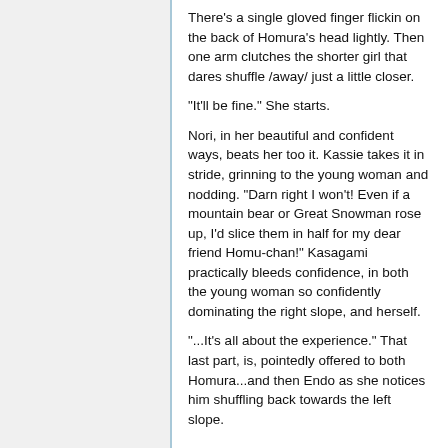There's a single gloved finger flickin on the back of Homura's head lightly. Then one arm clutches the shorter girl that dares shuffle /away/ just a little closer.
"It'll be fine." She starts.
Nori, in her beautiful and confident ways, beats her too it. Kassie takes it in stride, grinning to the young woman and nodding. "Darn right I won't! Even if a mountain bear or Great Snowman rose up, I'd slice them in half for my dear friend Homu-chan!" Kasagami practically bleeds confidence, in both the young woman so confidently dominating the right slope, and herself.
"...It's all about the experience." That last part, is, pointedly offered to both Homura...and then Endo as she notices him shuffling back towards the left slope.